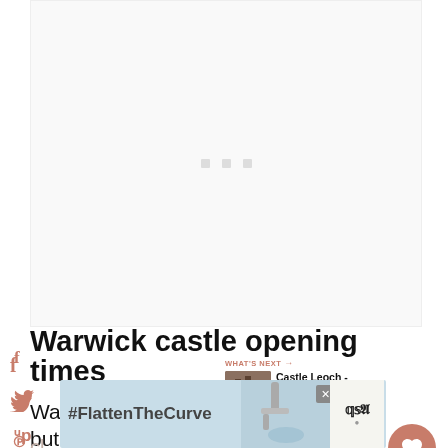[Figure (other): Advertisement placeholder area with three small grey dots/squares centered]
[Figure (infographic): Social media share sidebar with Facebook, Twitter, Pinterest, LinkedIn icons in muted terracotta color]
Warwick castle opening times
[Figure (other): What's Next panel showing castle image thumbnail with text 'Castle Leoch - 7 Amazing...' and terracotta arrow header]
[Figure (other): Heart/save button circle in terracotta with count 688 and share icon]
Warwick Castle is open from 10 am but
cl... the ye... winter...
[Figure (other): Bottom advertisement banner with #FlattenTheCurve text, faucet/handwashing image, close button, and logo]